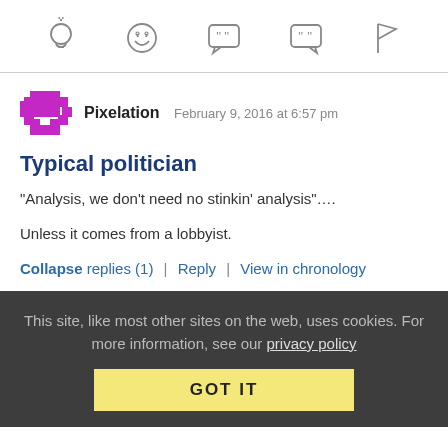[Figure (other): Row of five icon buttons: lightbulb, grinning face, left-quote speech bubble, right-quote speech bubble, flag]
Pixelation   February 9, 2016 at 6:57 pm
Typical politician
“Analysis, we don't need no stinkin' analysis”....

Unless it comes from a lobbyist.
Collapse replies (1) | Reply | View in chronology
This site, like most other sites on the web, uses cookies. For more information, see our privacy policy
GOT IT